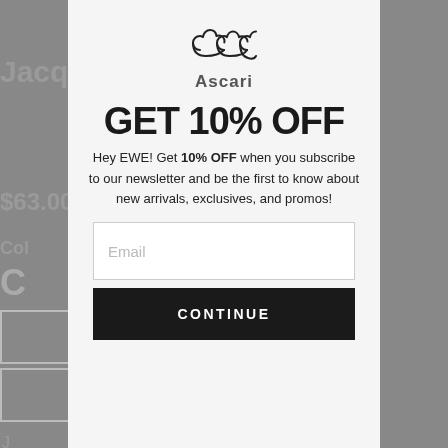[Figure (screenshot): E-commerce newsletter signup popup modal overlay on a product page background. The popup shows the Jacques Marie Mage brand logo (EWE emblem), a headline 'GET 10% OFF', a body text paragraph, an email input field, and a CONTINUE button.]
GET 10% OFF
Hey EWE! Get 10% OFF when you subscribe to our newsletter and be the first to know about new arrivals, exclusives, and promos!
Email
CONTINUE